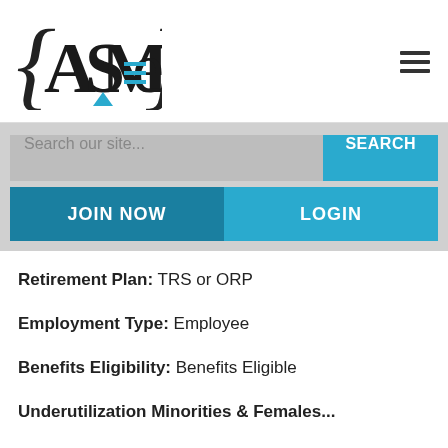[Figure (logo): ASMe logo with curly braces, blue triangle and blue horizontal lines]
Search our site...
SEARCH
JOIN NOW
LOGIN
Retirement Plan: TRS or ORP
Employment Type: Employee
Benefits Eligibility: Benefits Eligible
Underutilization Minorities & Females...